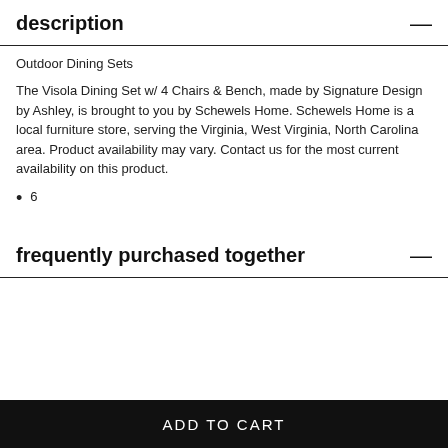description
Outdoor Dining Sets
The Visola Dining Set w/ 4 Chairs & Bench, made by Signature Design by Ashley, is brought to you by Schewels Home. Schewels Home is a local furniture store, serving the Virginia, West Virginia, North Carolina area. Product availability may vary. Contact us for the most current availability on this product.
6
frequently purchased together
ADD TO CART